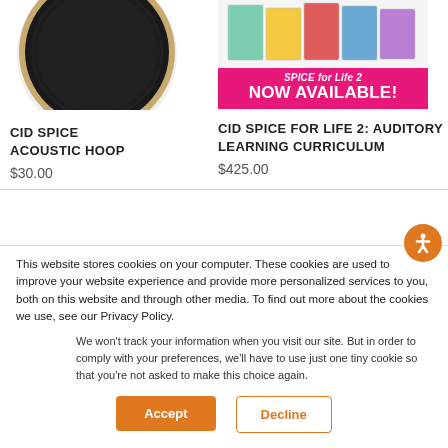[Figure (photo): CID Spice Acoustic Hoop product image - circular black and gold hoop speaker]
[Figure (photo): CID Spice for Life 2 curriculum books with pink NOW AVAILABLE banner]
CID SPICE ACOUSTIC HOOP
$30.00
CID SPICE FOR LIFE 2: AUDITORY LEARNING CURRICULUM
$425.00
This website stores cookies on your computer. These cookies are used to improve your website experience and provide more personalized services to you, both on this website and through other media. To find out more about the cookies we use, see our Privacy Policy.
We won't track your information when you visit our site. But in order to comply with your preferences, we'll have to use just one tiny cookie so that you're not asked to make this choice again.
Accept
Decline